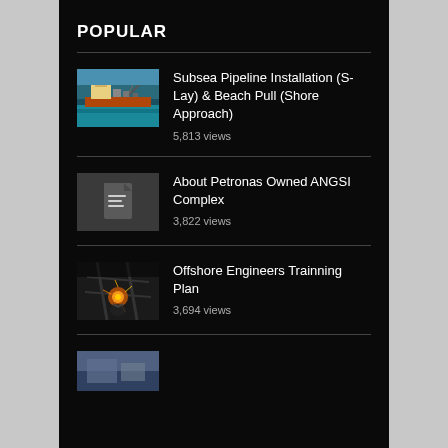POPULAR
Subsea Pipeline Installation (S-Lay) & Beach Pull (Shore Approach)
5,813 views
About Petronas Owned ANGSI Complex
3,822 views
Offshore Engineers Trainning Plan
3,694 views